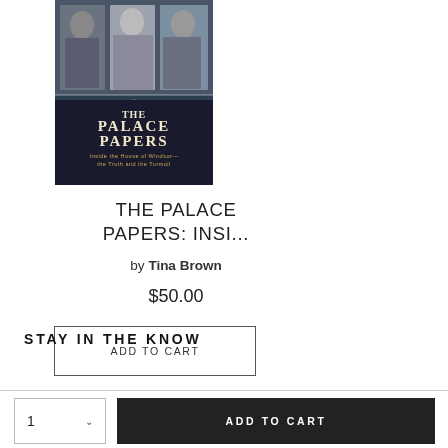[Figure (photo): Book cover of 'The Palace Papers: Inside the House of Windsor—the Truth and the Turmoil' by Tina Brown, showing portraits of royals]
THE PALACE PAPERS: INSI...
by Tina Brown
$50.00
ADD TO CART
STAY IN THE KNOW
1  ▾   ADD TO CART